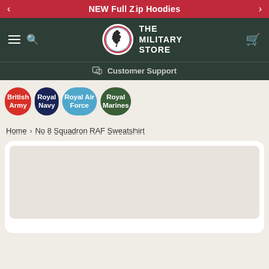NEW Full Zip Hoodies
[Figure (logo): The Military Store logo with UK map silhouette in a circle, white text reading THE MILITARY STORE]
Customer Support
British Army
Royal Navy
Royal Air Force
Royal Marines
Home > No 8 Squadron RAF Sweatshirt
[Figure (photo): Product image area for No 8 Squadron RAF Sweatshirt, shown as a light beige empty placeholder box]